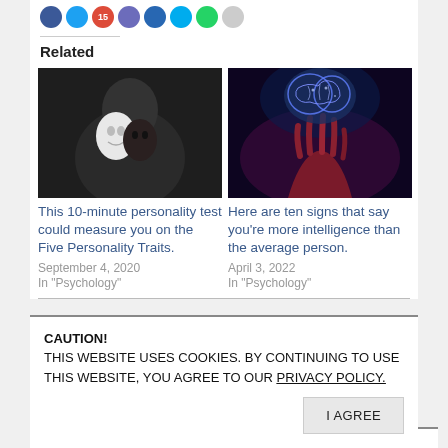[Figure (other): Social sharing buttons row including Facebook, Twitter, Google+, and other platform icons with a share count badge showing 15]
Related
[Figure (photo): Person in dark clothing holding two masks - one white, one dark]
This 10-minute personality test could measure you on the Five Personality Traits.
September 4, 2020
In "Psychology"
[Figure (photo): Glowing blue brain held above a red hand against a dark purple/blue background]
Here are ten signs that say you’re more intelligence than the average person.
April 3, 2022
In "Psychology"
CAUTION!
THIS WEBSITE USES COOKIES. BY CONTINUING TO USE THIS WEBSITE, YOU AGREE TO OUR PRIVACY POLICY.
I AGREE
anger management